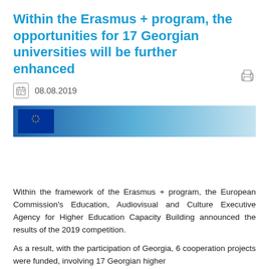Within the Erasmus + program, the opportunities for 17 Georgian universities will be further enhanced
08.08.2019
[Figure (photo): Banner image with EU flag on dark blue background, gradient fading to light blue]
Within the framework of the Erasmus + program, the European Commission's Education, Audiovisual and Culture Executive Agency for Higher Education Capacity Building announced the results of the 2019 competition.
As a result, with the participation of Georgia, 6 cooperation projects were funded, involving 17 Georgian higher